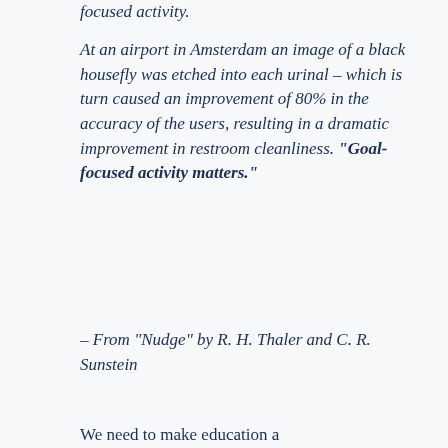focused activity.
At an airport in Amsterdam an image of a black housefly was etched into each urinal – which is turn caused an improvement of 80% in the accuracy of the users, resulting in a dramatic improvement in restroom cleanliness. “Goal-focused activity matters.”
– From “Nudge” by R. H. Thaler and C. R. Sunstein
We need to make education a